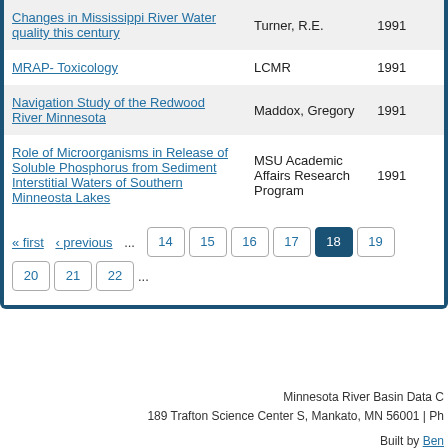| Title | Author | Year |
| --- | --- | --- |
| Changes in Mississippi River Water quality this century | Turner, R.E. | 1991 |
| MRAP- Toxicology | LCMR | 1991 |
| Navigation Study of the Redwood River Minnesota | Maddox, Gregory | 1991 |
| Role of Microorganisms in Release of Soluble Phosphorus from Sediment Interstitial Waters of Southern Minneosta Lakes | MSU Academic Affairs Research Program | 1991 |
« first  ‹ previous  ... 14  15  16  17  18  19  20  21  22  ...
Minnesota River Basin Data C
189 Trafton Science Center S, Mankato, MN 56001 | Ph

Built by Ben